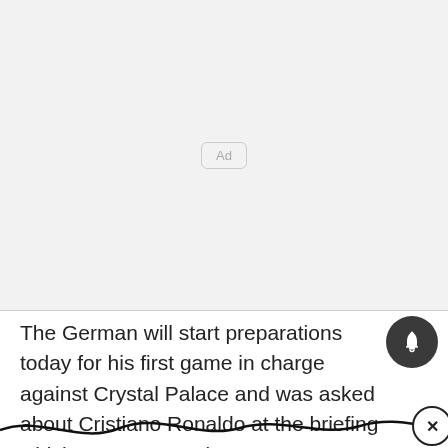[Figure (other): Advertisement placeholder area with light gray background and 'Ad' label in a rounded rectangle]
The German will start preparations today for his first game in charge against Crystal Palace and was asked about Cristiano Ronaldo at the briefing which was streamed at 9am on United's official app.